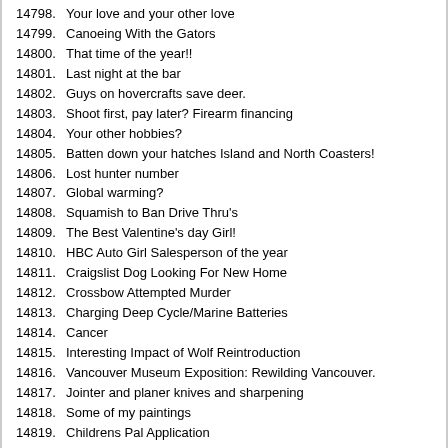14798. Your love and your other love
14799. Canoeing With the Gators
14800. That time of the year!!
14801. Last night at the bar
14802. Guys on hovercrafts save deer.
14803. Shoot first, pay later? Firearm financing
14804. Your other hobbies?
14805. Batten down your hatches Island and North Coasters!
14806. Lost hunter number
14807. Global warming?
14808. Squamish to Ban Drive Thru's
14809. The Best Valentine's day Girl!
14810. HBC Auto Girl Salesperson of the year
14811. Craigslist Dog Looking For New Home
14812. Crossbow Attempted Murder
14813. Charging Deep Cycle/Marine Batteries
14814. Cancer
14815. Interesting Impact of Wolf Reintroduction
14816. Vancouver Museum Exposition: Rewilding Vancouver.
14817. Jointer and planer knives and sharpening
14818. Some of my paintings
14819. Childrens Pal Application
14820. big buddy heaters
14821. Any doomsday preppers on here?
14822. Nicola Fish and Game vs Douglas ranch - Globe article and request for help
14823. Classic HBC - where did it all start for you?
14824. CPAWS and new conservationists training
14825. Nicola Valley Fish and Game Club fight Billionaire in Court
14826. What is a realistic hunting trip?